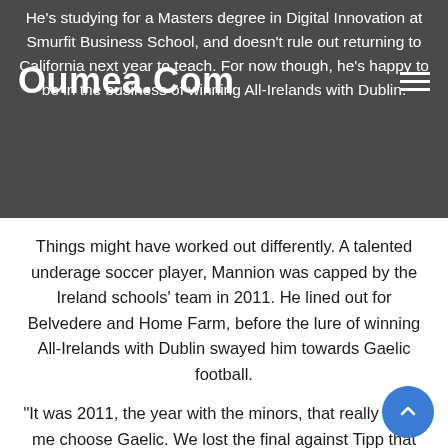He's studying for a Masters degree in Digital Innovation at Smurfit Business School, and doesn't rule out returning to California next year to teach. For now though, he's happy to be in the business of winning All-Irelands with Dublin.
Oumea.Com
Things might have worked out differently. A talented underage soccer player, Mannion was capped by the Ireland schools' team in 2011. He lined out for Belvedere and Home Farm, before the lure of winning All-Irelands with Dublin swayed him towards Gaelic football.
“It was 2011, the year with the minors, that really made me choose Gaelic. We lost the final against Tipp that year, the same day that the seniors won. And I remember standing on the pitch that day, [thinking] I would love to go on and win a senior.
“It was only a few months later that I was in the under-21 panel with Jim [Gavin], and just followed on from there and never really thought about going back to soccer